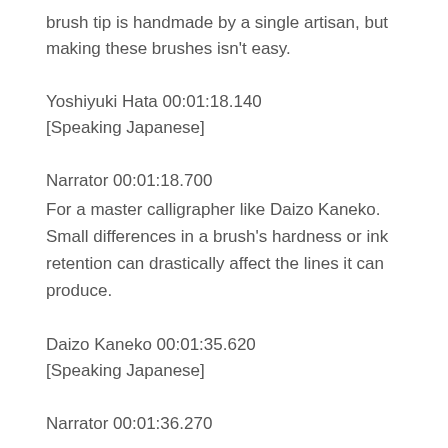brush tip is handmade by a single artisan, but making these brushes isn't easy.
Yoshiyuki Hata 00:01:18.140
[Speaking Japanese]
Narrator 00:01:18.700
For a master calligrapher like Daizo Kaneko. Small differences in a brush's hardness or ink retention can drastically affect the lines it can produce.
Daizo Kaneko 00:01:35.620
[Speaking Japanese]
Narrator 00:01:36.270